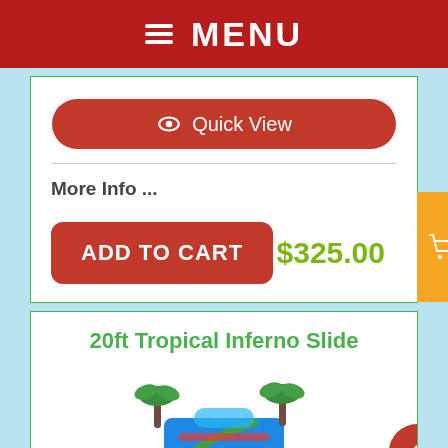≡ MENU
Quick View
More Info ...
ADD TO CART
$325.00
20ft Tropical Inferno Slide
[Figure (photo): Partial view of a 20ft Tropical Inferno inflatable slide in blue and green with tropical palm tree decorations]